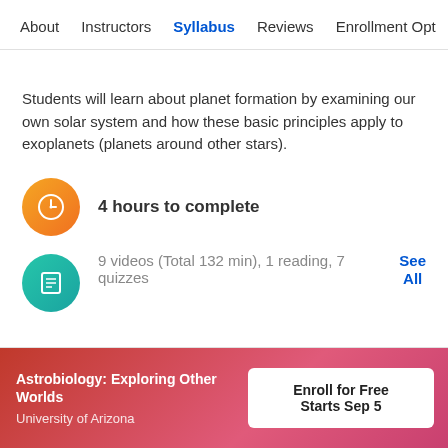About   Instructors   Syllabus   Reviews   Enrollment Opt
Students will learn about planet formation by examining our own solar system and how these basic principles apply to exoplanets (planets around other stars).
4 hours to complete
9 videos (Total 132 min), 1 reading, 7 quizzes
See All
Astrobiology: Exploring Other Worlds
University of Arizona
Enroll for Free
Starts Sep 5